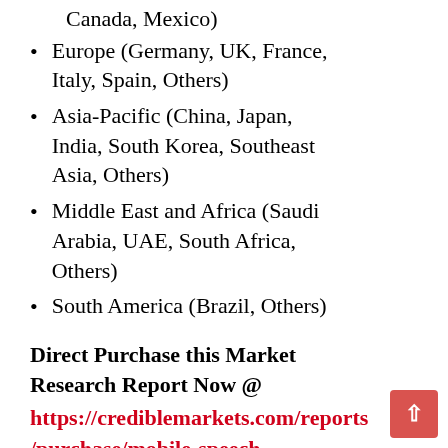Canada, Mexico)
Europe (Germany, UK, France, Italy, Spain, Others)
Asia-Pacific (China, Japan, India, South Korea, Southeast Asia, Others)
Middle East and Africa (Saudi Arabia, UAE, South Africa, Others)
South America (Brazil, Others)
Direct Purchase this Market Research Report Now @ https://crediblemarkets.com/reports/purchase/mobile-speech-recognition-software-market-425564?